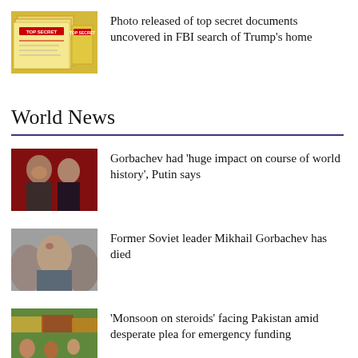[Figure (photo): Top secret documents with yellow cover pages]
Photo released of top secret documents uncovered in FBI search of Trump’s home
World News
[Figure (photo): Gorbachev and Putin in conversation]
Gorbachev had ‘huge impact on course of world history’, Putin says
[Figure (photo): Portrait of Mikhail Gorbachev]
Former Soviet leader Mikhail Gorbachev has died
[Figure (photo): Scene from Pakistan during monsoon flooding]
‘Monsoon on steroids’ facing Pakistan amid desperate plea for emergency funding